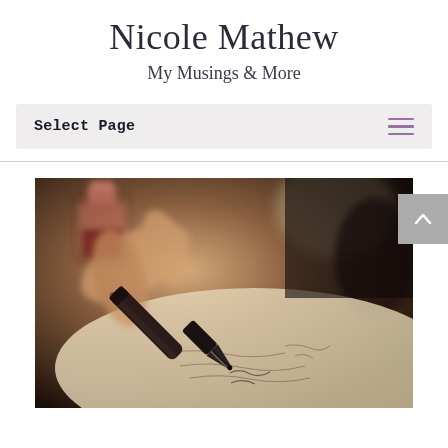Nicole Mathew
My Musings & More
Select Page
[Figure (photo): Close-up photograph of a fountain pen nib writing cursive text on paper, with an ink bottle partially visible in the background. Warm, blurred bokeh background.]